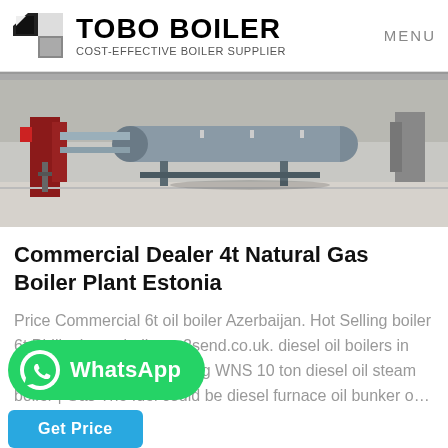[Figure (logo): Tobo Boiler logo with geometric black and grey icon, bold text TOBO BOILER, subtitle COST-EFFECTIVE BOILER SUPPLIER, and MENU text on the right]
[Figure (photo): Industrial boiler installation in a facility, showing large cylindrical boiler vessel on metal frame supports with red-painted components on the left side]
Commercial Dealer 4t Natural Gas Boiler Plant Estonia
Price Commercial 6t oil boiler Azerbaijan. Hot Selling boiler 6t Philippines - balloons2send.co.uk. diesel oil boilers in philippines. 2019 hot selling WNS 10 ton diesel oil steam boiler | Gas The fuel could be diesel furnace oil bunker o...
[Figure (logo): WhatsApp green button with WhatsApp icon and WhatsApp label in white]
[Figure (other): Get Price blue button]